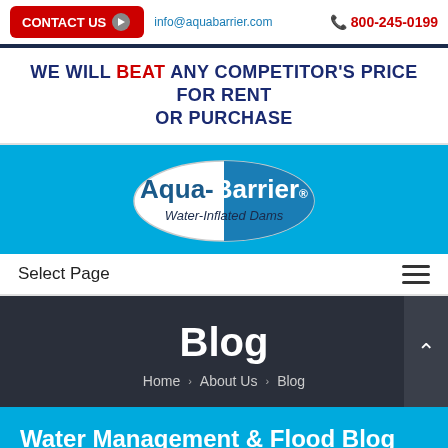CONTACT US  info@aquabarrier.com  800-245-0199
WE WILL BEAT ANY COMPETITOR'S PRICE FOR RENT OR PURCHASE
[Figure (logo): Aqua-Barrier Water-Inflated Dams oval logo with blue and white halves]
Select Page
Blog
Home > About Us > Blog
Water Management & Flood Blog
Read about the latest news and insights in